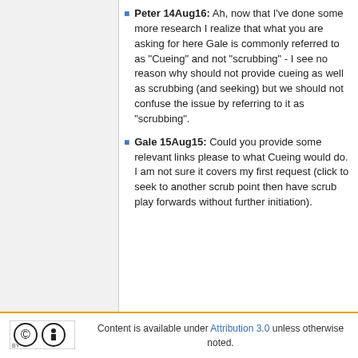Peter 14Aug16: Ah, now that I've done some more research I realize that what you are asking for here Gale is commonly referred to as "Cueing" and not "scrubbing" - I see no reason why should not provide cueing as well as scrubbing (and seeking) but we should not confuse the issue by referring to it as "scrubbing".
Gale 15Aug15: Could you provide some relevant links please to what Cueing would do. I am not sure it covers my first request (click to seek to another scrub point then have scrub play forwards without further initiation).
Content is available under Attribution 3.0 unless otherwise noted.